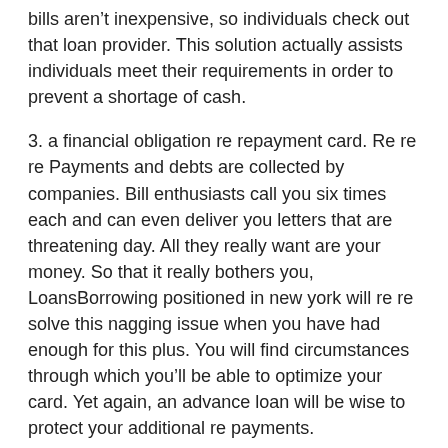bills aren’t inexpensive, so individuals check out that loan provider. This solution actually assists individuals meet their requirements in order to prevent a shortage of cash.
3. a financial obligation re repayment card. Re re re Payments and debts are collected by companies. Bill enthusiasts call you six times each and can even deliver you letters that are threatening day. All they really want are your money. So that it really bothers you, LoansBorrowing positioned in new york will re re solve this nagging issue when you have had enough for this plus. You will find circumstances through which you’ll be able to optimize your card. Yet again, an advance loan will be wise to protect your additional re payments.
4. Insufficient willingness to borrow from family and friends. payday loans loans It really is often poor to ask